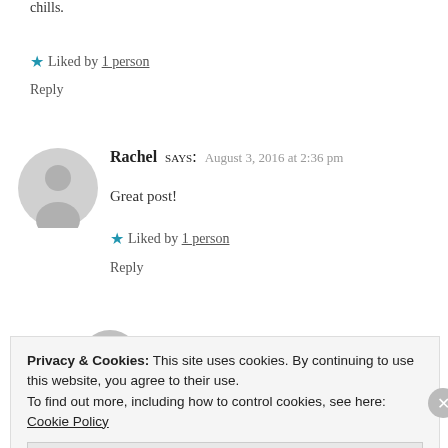chills.
★ Liked by 1 person
Reply
Rachel says: August 3, 2016 at 2:36 pm
Great post!
★ Liked by 1 person
Reply
Liam says:
Privacy & Cookies: This site uses cookies. By continuing to use this website, you agree to their use.
To find out more, including how to control cookies, see here: Cookie Policy
Close and accept